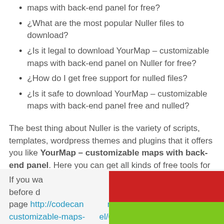¿How can I download YourMap – customizable maps with back-end panel for free?
¿What are the most popular Nuller files to download?
¿Is it legal to download YourMap – customizable maps with back-end panel on Nuller for free?
¿How do I get free support for nulled files?
¿Is it safe to download YourMap – customizable maps with back-end panel free and nulled?
The best thing about Nuller is the variety of scripts, templates, wordpress themes and plugins that it offers you like YourMap – customizable maps with back-end panel. Here you can get all kinds of free tools for your website or application.
If you wa... on before d... sales page http://codecan.../map-customizable-maps-.../6503550. (We recommend to see t...